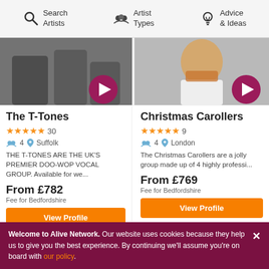Search Artists | Artist Types | Advice & Ideas
[Figure (photo): Photo of The T-Tones group members with a play button overlay]
The T-Tones
★★★★★ 30
👥 4  📍 Suffolk
THE T-TONES ARE THE UK'S PREMIER DOO-WOP VOCAL GROUP. Available for we...
From £782
Fee for Bedfordshire
View Profile
[Figure (photo): Photo of Christmas Carollers smiling with a play button overlay]
Christmas Carollers
★★★★★ 9
👥 4  📍 London
The Christmas Carollers are a jolly group made up of 4 highly professi...
From £769
Fee for Bedfordshire
View Profile
Welcome to Alive Network. Our website uses cookies because they help us to give you the best experience. By continuing we'll assume you're on board with our policy.